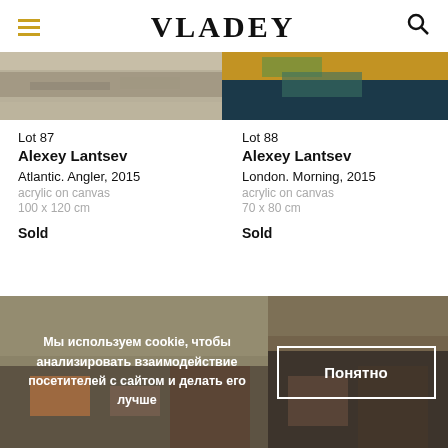VLADEY
[Figure (photo): Partial view of painting - Atlantic seascape, muted tones]
[Figure (photo): Partial view of painting - London morning, yellow and dark teal tones]
Lot 87
Alexey Lantsev
Atlantic. Angler, 2015
acrylic on canvas
100 x 120 cm

Sold
Lot 88
Alexey Lantsev
London. Morning, 2015
acrylic on canvas
70 x 80 cm

Sold
[Figure (photo): Bottom left artwork image - muted landscape scene]
[Figure (photo): Bottom right artwork image - dark landscape scene]
Мы используем cookie, чтобы анализировать взаимодействие посетителей с сайтом и делать его лучше
Понятно